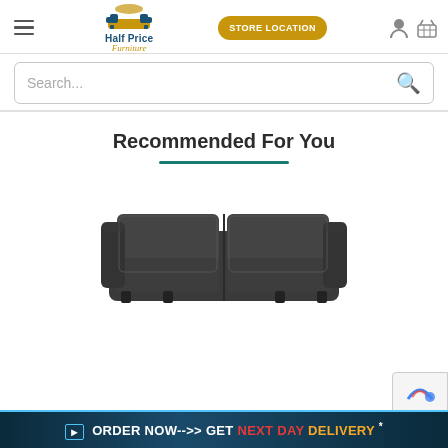Half Price Furniture — Store Location — Navigation
Search...
Recommended For You
[Figure (photo): Dark charcoal gray two-cushion sofa with square arms and low profile, viewed from a slight angle]
ORDER NOW->> GET NEXT DAY DELIVERY *